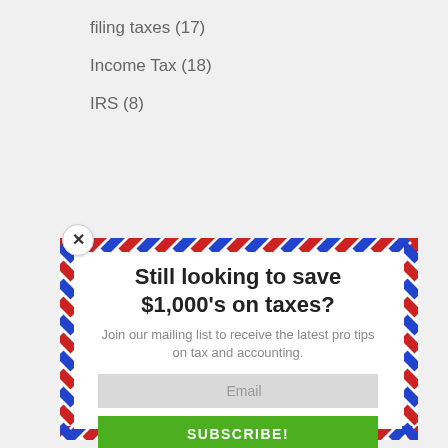filing taxes (17)
Income Tax (18)
IRS (8)
[Figure (infographic): A popup modal with airmail-style diagonal red and blue stripe border on a white background. Contains bold headline 'Still looking to save $1,000’s on taxes?', subtitle text 'Join our mailing list to receive the latest pro tips on tax and accounting.', a grey Email input field, and a green SUBSCRIBE! button. A close (X) button is in the upper-left corner of the popup.]